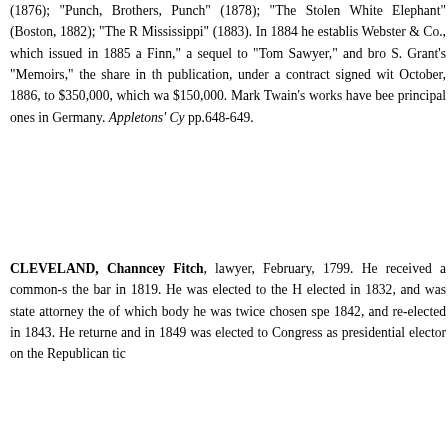(1876); "Punch, Brothers, Punch" (1878); "The Stolen White Elephant" (Boston, 1882); "The Prince and the Pauper" (1882); "Life on the Mississippi" (1883). In 1884 he established the firm of Charles L. Webster & Co., which issued in 1885 a new edition of "Huckleberry Finn," a sequel to "Tom Sawyer," and brought out Ulysses S. Grant's "Memoirs," the share in the profits of this publication, under a contract signed with General Grant in October, 1886, to $350,000, which was paid with $150,000. Mark Twain's works have been published in all the principal ones in Germany. Appletons' Cyclopaedia of Biography pp.648-649.
CLEVELAND, Channcey Fitch, lawyer, born in February, 1799. He received a common-school education, was admitted to the bar in 1819. He was elected to the House in 1831, re-elected in 1832, and was state attorney thereafter. He was a member of which body he was twice chosen speaker. He was elected in 1842, and re-elected in 1843. He returned to practice of law, and in 1849 was elected to Congress as a Democrat; was presidential elector on the Republican ticket in 1864.